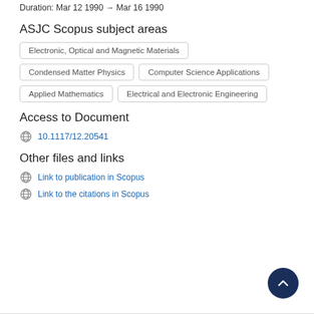Duration: Mar 12 1990 → Mar 16 1990
ASJC Scopus subject areas
Electronic, Optical and Magnetic Materials
Condensed Matter Physics
Computer Science Applications
Applied Mathematics
Electrical and Electronic Engineering
Access to Document
10.1117/12.20541
Other files and links
Link to publication in Scopus
Link to the citations in Scopus